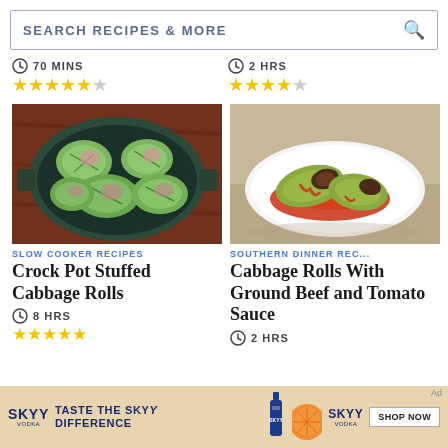SEARCH RECIPES & MORE
70 MINS
★★★★½
2 HRS
★★★★☆
[Figure (photo): Crock pot with stuffed cabbage rolls viewed from above, green cabbage leaves folded around filling in a dark oval Dutch oven on a wooden surface]
SLOW COOKER RECIPES
Crock Pot Stuffed Cabbage Rolls
8 HRS
★★★★½
[Figure (photo): Cabbage rolls with tomato sauce on a white plate, showing stuffed cabbage rolls cut open revealing ground beef filling, covered in red tomato sauce on a granite countertop]
SOUTHERN DINNER REC...
Cabbage Rolls With Ground Beef and Tomato Sauce
2 HRS
[Figure (infographic): SKYY Vodka advertisement banner: TASTE THE SKYY DIFFERENCE with bottle image and SHOP NOW button]